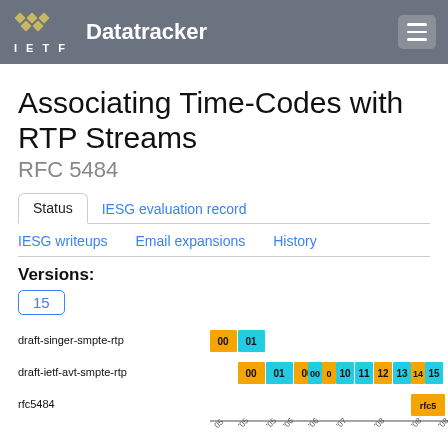IETF Datatracker
Associating Time-Codes with RTP Streams
RFC 5484
Status | IESG evaluation record | IESG writeups | Email expansions | History
Versions:
15
[Figure (bar-chart): Draft version timeline]